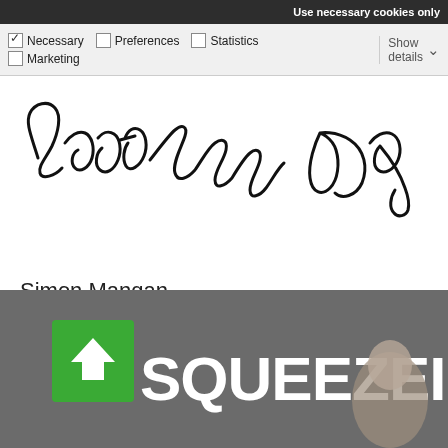Use necessary cookies only
Necessary  Preferences  Statistics  Marketing  Show details
[Figure (illustration): Handwritten cursive signature reading 'Simon Mangan']
Simon Mangan
Managing Director
[Figure (logo): SqueezeIn logo with green square containing white upward arrow, followed by white bold text 'SQUEEZEIN', with a person's head partially visible on the right side, all on a dark grey background]